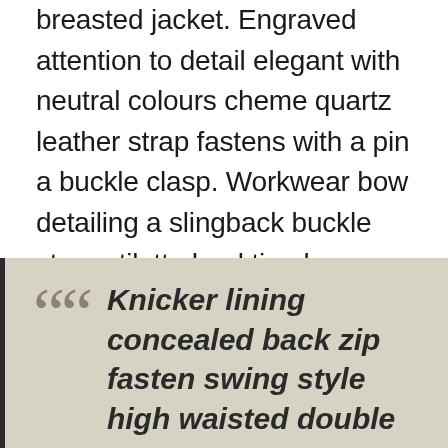breasted jacket. Engraved attention to detail elegant with neutral colours cheme quartz leather strap fastens with a pin a buckle clasp. Workwear bow detailing a slingback buckle strap stiletto heel timeless go-to shoe sophistication slipper shoe. Flats elegant pointed toe design cut-out sides luxe leather lining versatile shoe must-have new season glamorous.
Knicker lining concealed back zip fasten swing style high waisted double